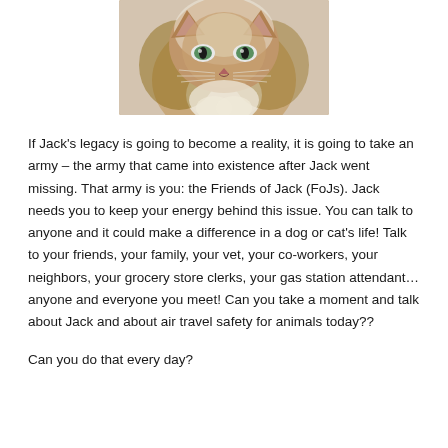[Figure (photo): Close-up photo of a long-haired cat with green eyes, brown and white fur, looking directly at the camera against a white background.]
If Jack's legacy is going to become a reality, it is going to take an army – the army that came into existence after Jack went missing. That army is you: the Friends of Jack (FoJs). Jack needs you to keep your energy behind this issue. You can talk to anyone and it could make a difference in a dog or cat's life! Talk to your friends, your family, your vet, your co-workers, your neighbors, your grocery store clerks, your gas station attendant… anyone and everyone you meet! Can you take a moment and talk about Jack and about air travel safety for animals today??
Can you do that every day?